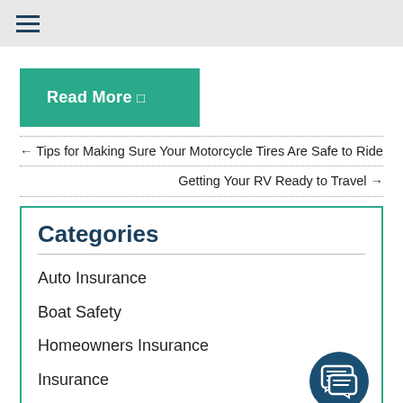≡ (hamburger menu)
Read More →
← Tips for Making Sure Your Motorcycle Tires Are Safe to Ride
Getting Your RV Ready to Travel →
Categories
Auto Insurance
Boat Safety
Homeowners Insurance
Insurance
Liability Insurance